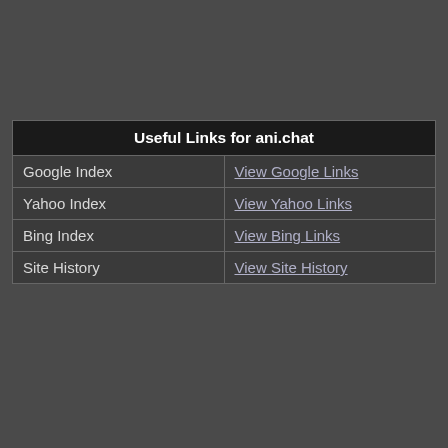| Useful Links for ani.chat |  |
| --- | --- |
| Google Index | View Google Links |
| Yahoo Index | View Yahoo Links |
| Bing Index | View Bing Links |
| Site History | View Site History |